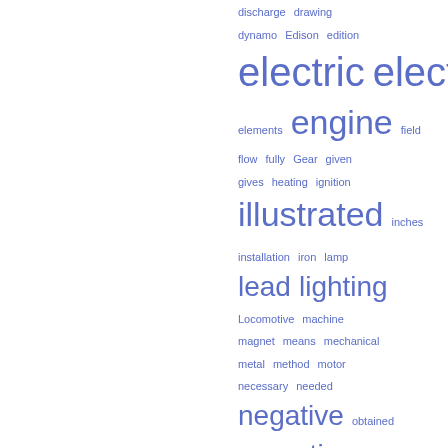[Figure (other): A tag cloud of index terms from what appears to be a book index or subject index. Terms are displayed in varying font sizes indicating frequency/importance, all in blue color. Terms include: discharge, drawing, dynamo, Edison, edition, electric, electrolyte, elements, engine, field, flow, fully, Gear, given, gives, heating, ignition, illustrated, inches, installation, iron, lamp, lead, lighting, Locomotive, machine, magnet, means, mechanical, metal, method, motor, necessary, needed, negative, obtained, operation, pass, plants, plates, positive, posts, pounds, practical, Price, produced, proper]